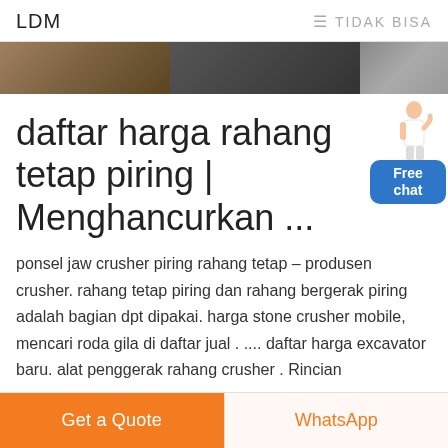LDM  ≡ TIDAK BISA
[Figure (photo): Banner image showing stone/rock crusher machinery in three sections: brownish rocks on left, dark machinery in center, grey stones on right]
daftar harga rahang tetap piring | Menghancurkan ...
ponsel jaw crusher piring rahang tetap – produsen crusher. rahang tetap piring dan rahang bergerak piring adalah bagian dpt dipakai. harga stone crusher mobile, mencari roda gila di daftar jual . .... daftar harga excavator baru. alat penggerak rahang crusher . Rincian
[Figure (illustration): Free chat widget: illustration of a female customer service person pointing, with a blue rounded rectangle button showing 'Free chat' text]
Get a Quote  WhatsApp